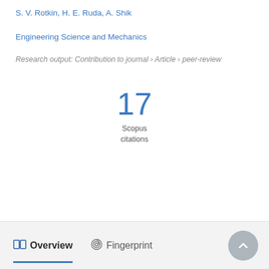S. V. Rotkin, H. E. Ruda, A. Shik
Engineering Science and Mechanics
Research output: Contribution to journal › Article › peer-review
17
Scopus
citations
Overview   Fingerprint